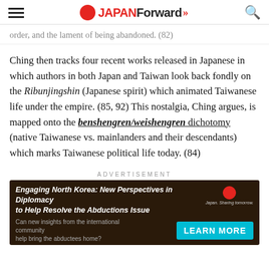JAPAN Forward
order, and the lament of being abandoned. (82)
Ching then tracks four recent works released in Japanese in which authors in both Japan and Taiwan look back fondly on the Ribunjingshin (Japanese spirit) which animated Taiwanese life under the empire. (85, 92) This nostalgia, Ching argues, is mapped onto the benshengren/weishengren dichotomy (native Taiwanese vs. mainlanders and their descendants) which marks Taiwanese political life today. (84)
ADVERTISEMENT
[Figure (infographic): Advertisement banner for 'Engaging North Korea: New Perspectives in Diplomacy to Help Resolve the Abductions Issue' with a Learn More button and a photo of a panel discussion]